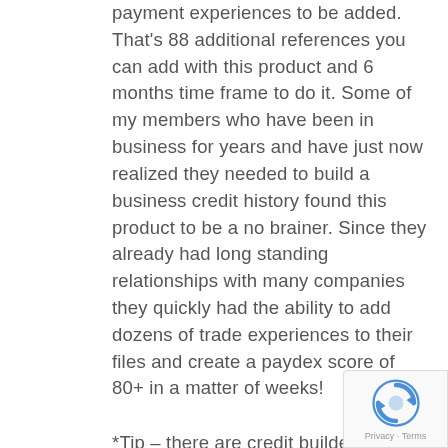payment experiences to be added. That's 88 additional references you can add with this product and 6 months time frame to do it. Some of my members who have been in business for years and have just now realized they needed to build a business credit history found this product to be a no brainer. Since they already had long standing relationships with many companies they quickly had the ability to add dozens of trade experiences to their files and create a paydex score of 80+ in a matter of weeks!
*Tip – there are credit builder companies like BCIC that report your payments to a business credt bureau. Not only do they give you access to vendors, suppliers, business credit